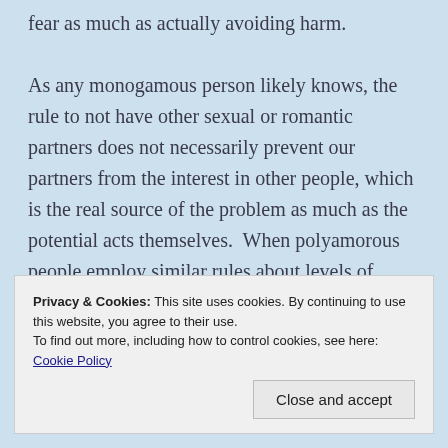fear as much as actually avoiding harm.

As any monogamous person likely knows, the rule to not have other sexual or romantic partners does not necessarily prevent our partners from the interest in other people, which is the real source of the problem as much as the potential acts themselves.  When polyamorous people employ similar rules about levels of intimacy, the difference is one of quantity, not quality. Making the exclusivity limited to one person or a few does not solve the problem of fearing the loss of
Privacy & Cookies: This site uses cookies. By continuing to use this website, you agree to their use.
To find out more, including how to control cookies, see here: Cookie Policy

Close and accept